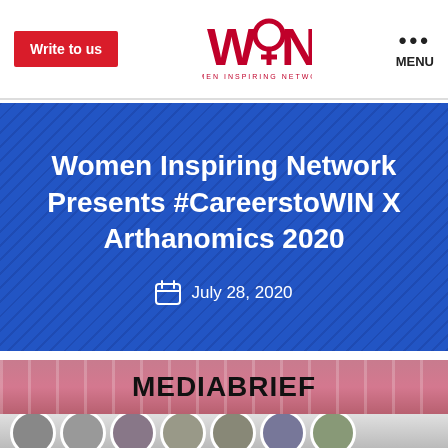Write to us | WIN Women Inspiring Network | MENU
Women Inspiring Network Presents #CareerstoWIN X Arthanomics 2020
July 28, 2020
[Figure (photo): Mediabrief logo strip with pink/mauve striped background]
#CareersToWIN x Arthanomics 2020
[Figure (photo): Group of people headshots at the bottom of the article image]